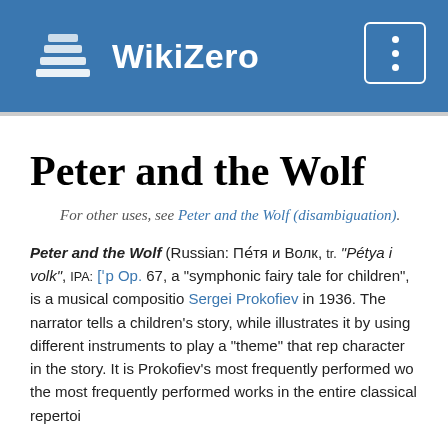WikiZero
Peter and the Wolf
For other uses, see Peter and the Wolf (disambiguation).
Peter and the Wolf (Russian: Пе́тя и Волк, tr. "Pétya i volk", IPA: [ˈpʲetʲə ɪ volk]), Op. 67, a "symphonic fairy tale for children", is a musical composition by Sergei Prokofiev in 1936. The narrator tells a children's story, while the orchestra illustrates it by using different instruments to play a "theme" that represents each character in the story. It is Prokofiev's most frequently performed work, and one of the most frequently performed works in the entire classical repertoire.
Background
In 1936, Prokofiev was commissioned by Natalya Sats, the director...